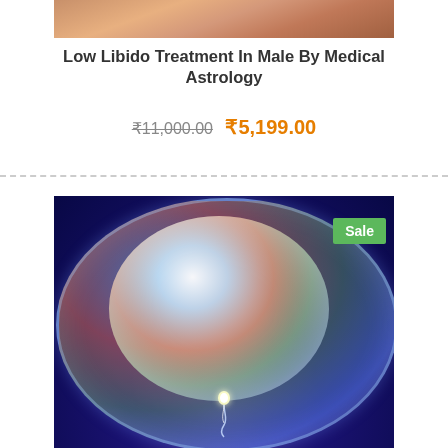[Figure (photo): Partial view of a person's hands/face at the top of the page]
Low Libido Treatment In Male By Medical Astrology
₹11,000.00 ₹5,199.00
[Figure (photo): Colorful iridescent bubble with sperm cell, blue background, with a green 'Sale' badge in top right corner]